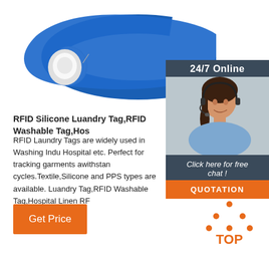[Figure (photo): Blue silicone RFID wristband/laundry tag with white NFC button, shown on white background]
[Figure (photo): 24/7 Online customer service widget with woman wearing headset, Click here for free chat, and QUOTATION button]
RFID Silicone Luandry Tag,RFID Washable Tag,Hos
RFID Laundry Tags are widely used in Washing Indu Hospital etc. Perfect for tracking garments awithstan cycles.Textile,Silicone and PPS types are available. Luandry Tag,RFID Washable Tag,Hospital Linen RF
[Figure (other): Orange Get Price button]
[Figure (other): Orange TOP icon with dots above text]